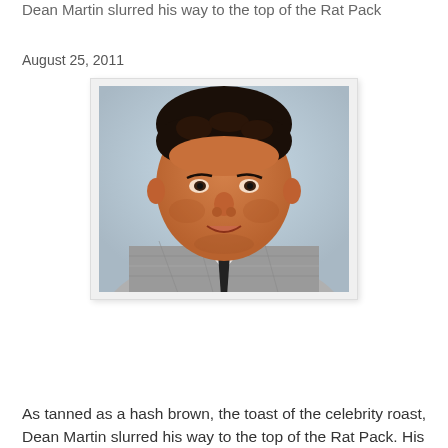Dean Martin slurred his way to the top of the Rat Pack
August 25, 2011
[Figure (photo): Portrait photo of Dean Martin, wearing a grey plaid jacket with a dark tie, smiling slightly, with dark curly hair, against a light blue background.]
As tanned as a hash brown, the toast of the celebrity roast, Dean Martin slurred his way to the top of the Rat Pack. His